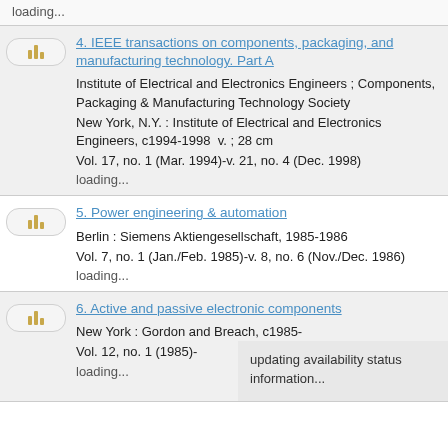loading...
4. IEEE transactions on components, packaging, and manufacturing technology. Part A
Institute of Electrical and Electronics Engineers ; Components, Packaging & Manufacturing Technology Society
New York, N.Y. : Institute of Electrical and Electronics Engineers, c1994-1998  v. ; 28 cm
Vol. 17, no. 1 (Mar. 1994)-v. 21, no. 4 (Dec. 1998)
loading...
5. Power engineering & automation
Berlin : Siemens Aktiengesellschaft, 1985-1986
Vol. 7, no. 1 (Jan./Feb. 1985)-v. 8, no. 6 (Nov./Dec. 1986)
loading...
6. Active and passive electronic components
New York : Gordon and Breach, c1985-
Vol. 12, no. 1 (1985)-
loading...
updating availability status information...